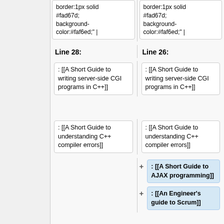border:1px solid #fad67d; background-color:#faf6ed;" |
border:1px solid #fad67d; background-color:#faf6ed;" |
Line 28:
Line 26:
: [[A Short Guide to writing server-side CGI programs in C++]]
: [[A Short Guide to writing server-side CGI programs in C++]]
: [[A Short Guide to understanding C++ compiler errors]]
: [[A Short Guide to understanding C++ compiler errors]]
: [[A Short Guide to AJAX programming]]
: [[An Engineer's guide to Scrum]]
: [[JavaScript notes]]
: [[JavaScript notes]]
: [[Matrices can be your friends]]